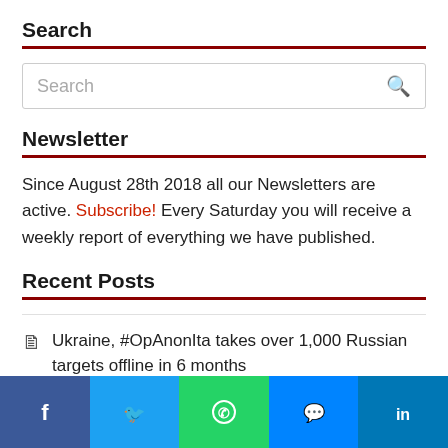Search
Search (input box)
Newsletter
Since August 28th 2018 all our Newsletters are active. Subscribe! Every Saturday you will receive a weekly report of everything we have published.
Recent Posts
Ukraine, #OpAnonIta takes over 1,000 Russian targets offline in 6 months
[Figure (other): Social share bar with Facebook, Twitter, WhatsApp, Messenger, and LinkedIn buttons]